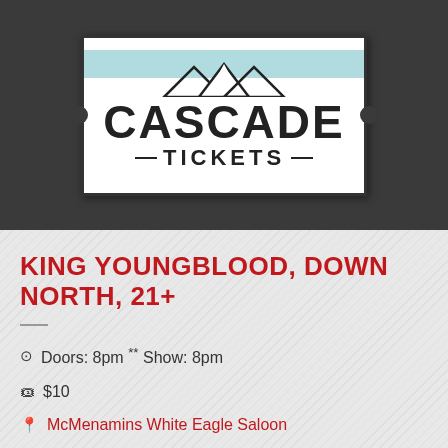[Figure (logo): Cascade Tickets logo — white ticket-shaped rectangle with mountain silhouette at top, large bold text CASCADE and smaller TICKETS below, on dark gray background]
KING YOUNGBLOOD, DOWN NORTH, 21+
Doors: 8pm ** Show: 8pm
$10
McMenamins White Eagle Saloon